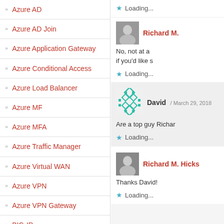Azure AD
Azure AD Join
Azure Application Gateway
Azure Conditional Access
Azure Load Balancer
Azure MF
Azure MFA
Azure Traffic Manager
Azure Virtual WAN
Azure VPN
Azure VPN Gateway
BIG-IP
Loading...
Richard M. 
No, not at a
if you'd like s
Loading...
David / March 29, 2018
Are a top guy Richar
Loading...
Richard M. Hicks
Thanks David!
Loading...